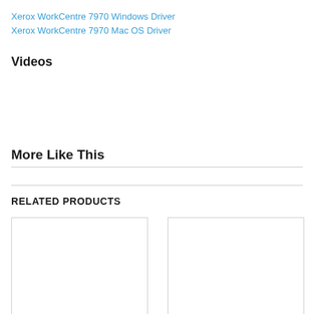Xerox WorkCentre 7970 Windows Driver
Xerox WorkCentre 7970 Mac OS Driver
Videos
More Like This
RELATED PRODUCTS
[Figure (other): Two product image placeholder boxes side by side]